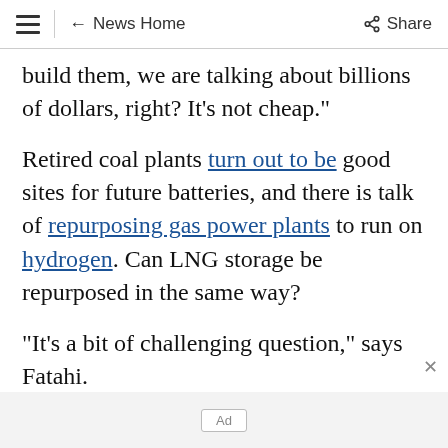≡  ← News Home  Share
build them, we are talking about billions of dollars, right? It's not cheap."
Retired coal plants turn out to be good sites for future batteries, and there is talk of repurposing gas power plants to run on hydrogen. Can LNG storage be repurposed in the same way?
"It's a bit of challenging question," says Fatahi.
Ad